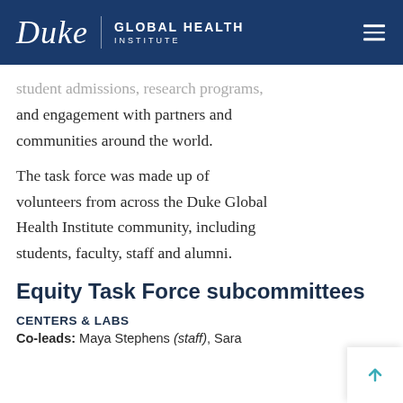Duke Global Health Institute
student admissions, research programs, and engagement with partners and communities around the world.
The task force was made up of volunteers from across the Duke Global Health Institute community, including students, faculty, staff and alumni.
Equity Task Force subcommittees
CENTERS & LABS
Co-leads: Maya Stephens (staff), Sara